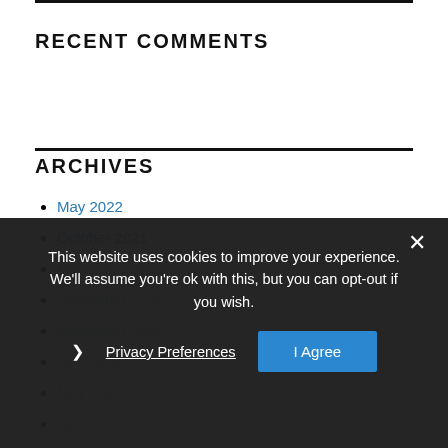RECENT COMMENTS
ARCHIVES
May 2022
October 2021
February 2021
December 2020
November 2020
July 2020
May 2020
April 2020
December 2019
This website uses cookies to improve your experience. We'll assume you're ok with this, but you can opt-out if you wish.
Privacy Preferences
I Agree